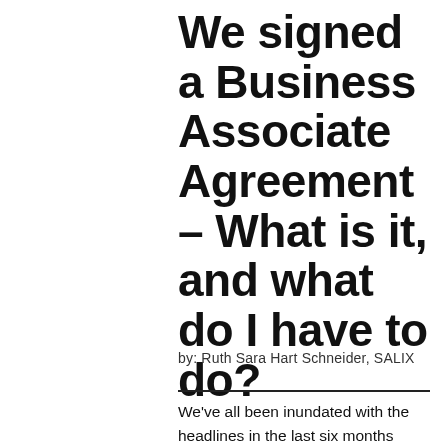We signed a Business Associate Agreement – What is it, and what do I have to do?
by: Ruth Sara Hart Schneider, SALIX
We've all been inundated with the headlines in the last six months regarding Cyber Security Breaches. The resulting fines, loss of credibility and reputation, and damages to businesses in the court of